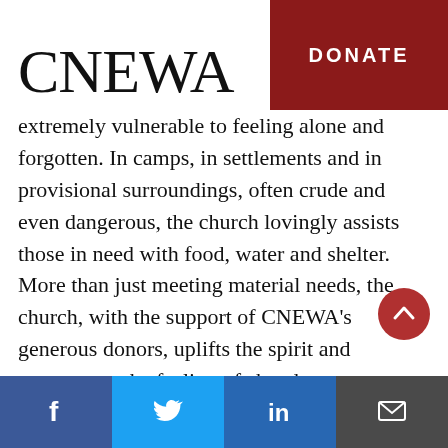CNEWA   DONATE
extremely vulnerable to feeling alone and forgotten. In camps, in settlements and in provisional surroundings, often crude and even dangerous, the church lovingly assists those in need with food, water and shelter. More than just meeting material needs, the church, with the support of CNEWA’s generous donors, uplifts the spirit and counteracts the feeling of abandonment.
These goods works reinforce God’s love for all.
Facebook  Twitter  LinkedIn  Email